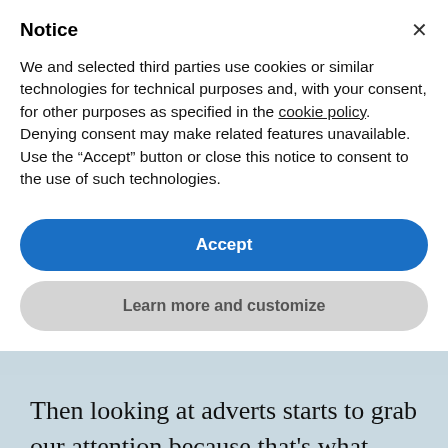Notice
We and selected third parties use cookies or similar technologies for technical purposes and, with your consent, for other purposes as specified in the cookie policy. Denying consent may make related features unavailable.
Use the “Accept” button or close this notice to consent to the use of such technologies.
Accept
Learn more and customize
Then looking at adverts starts to grab our attention because that’s what they’re designed for.
Then we read our email. What’s this? A